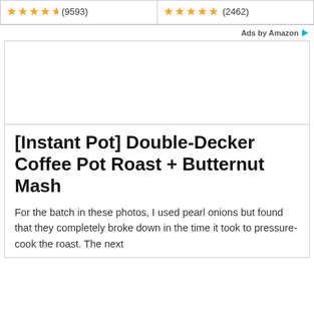[Figure (other): Two product rating boxes side by side, each showing gold star ratings and review counts. Left box: 4.5 stars (9593 reviews). Right box: 5 stars (2462 reviews).]
Ads by Amazon
[Figure (other): White content card with empty image area at top]
[Instant Pot] Double-Decker Coffee Pot Roast + Butternut Mash
For the batch in these photos, I used pearl onions but found that they completely broke down in the time it took to pressure-cook the roast. The next